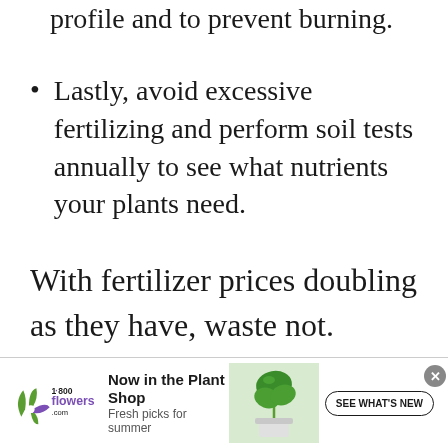profile and to prevent burning.
Lastly, avoid excessive fertilizing and perform soil tests annually to see what nutrients your plants need.
With fertilizer prices doubling as they have, waste not.
[Figure (other): 1-800-Flowers.com advertisement banner with logo, plant photo, text 'Now in the Plant Shop - Fresh picks for summer', and a 'SEE WHAT'S NEW' button]